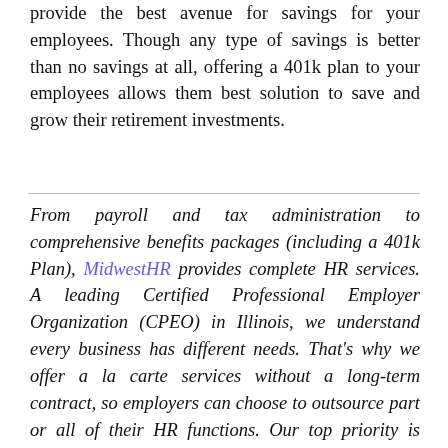provide the best avenue for savings for your employees. Though any type of savings is better than no savings at all, offering a 401k plan to your employees allows them best solution to save and grow their retirement investments.
From payroll and tax administration to comprehensive benefits packages (including a 401k Plan), MidwestHR provides complete HR services. A leading Certified Professional Employer Organization (CPEO) in Illinois, we understand every business has different needs. That's why we offer a la carte services without a long-term contract, so employers can choose to outsource part or all of their HR functions. Our top priority is becoming a trusted partner so you can focus on growing your business. Give us a call 630-